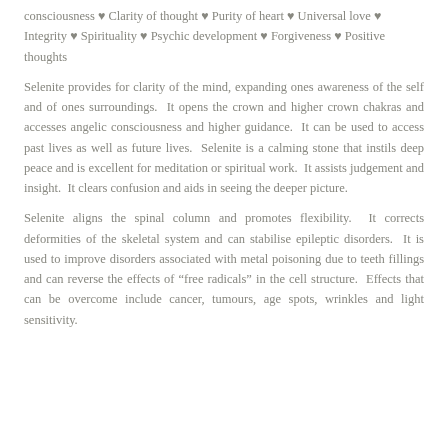consciousness ♥ Clarity of thought ♥ Purity of heart ♥ Universal love ♥ Integrity ♥ Spirituality ♥ Psychic development ♥ Forgiveness ♥ Positive thoughts
Selenite provides for clarity of the mind, expanding ones awareness of the self and of ones surroundings.  It opens the crown and higher crown chakras and accesses angelic consciousness and higher guidance.  It can be used to access past lives as well as future lives.  Selenite is a calming stone that instils deep peace and is excellent for meditation or spiritual work.  It assists judgement and insight.  It clears confusion and aids in seeing the deeper picture.
Selenite aligns the spinal column and promotes flexibility.  It corrects deformities of the skeletal system and can stabilise epileptic disorders.  It is used to improve disorders associated with metal poisoning due to teeth fillings and can reverse the effects of "free radicals" in the cell structure.  Effects that can be overcome include cancer, tumours, age spots, wrinkles and light sensitivity.